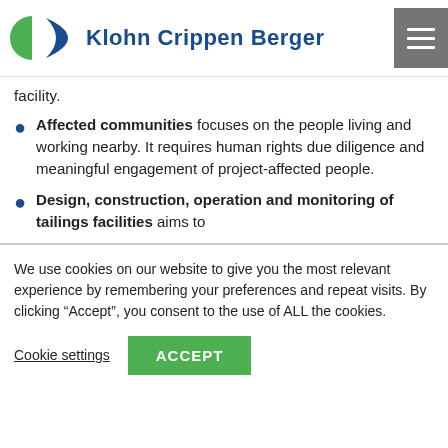Klohn Crippen Berger
facility.
Affected communities focuses on the people living and working nearby. It requires human rights due diligence and meaningful engagement of project-affected people.
Design, construction, operation and monitoring of tailings facilities aims to
We use cookies on our website to give you the most relevant experience by remembering your preferences and repeat visits. By clicking “Accept”, you consent to the use of ALL the cookies.
Cookie settings  ACCEPT